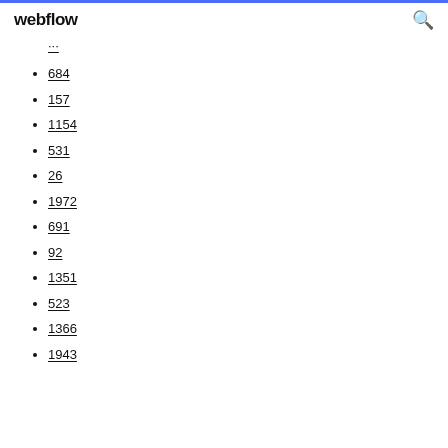webflow
...
684
157
1154
531
26
1972
691
92
1351
523
1366
1943